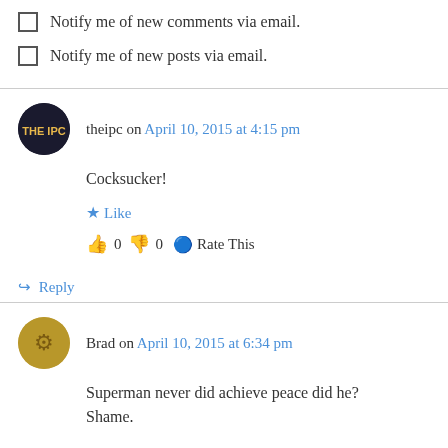Notify me of new comments via email.
Notify me of new posts via email.
theipc on April 10, 2015 at 4:15 pm
Cocksucker!
Like
👍 0 👎 0 ℹ Rate This
Reply
Brad on April 10, 2015 at 6:34 pm
Superman never did achieve peace did he? Shame.